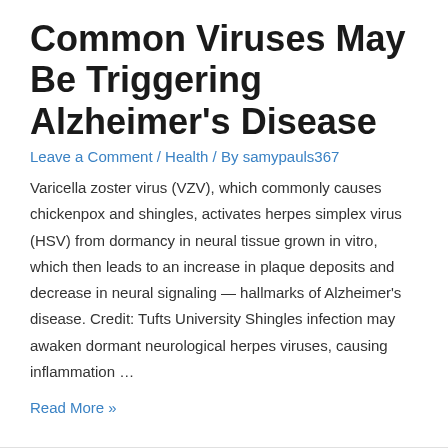Common Viruses May Be Triggering Alzheimer's Disease
Leave a Comment / Health / By samypauls367
Varicella zoster virus (VZV), which commonly causes chickenpox and shingles, activates herpes simplex virus (HSV) from dormancy in neural tissue grown in vitro, which then leads to an increase in plaque deposits and decrease in neural signaling — hallmarks of Alzheimer's disease. Credit: Tufts University Shingles infection may awaken dormant neurological herpes viruses, causing inflammation …
Read More »